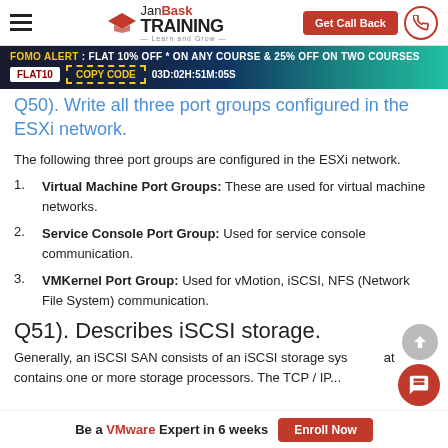JanBask TRAINING - Learn and Grow | Get Call Back
FOMO ALERT : FLAT 10% OFF * ON ANY COURSE & 25% OFF ON TWO COURSES | FLAT10 | COPY CODE | 03D:02H:51M:05S
Q50). Write all three port groups configured in the ESXi network.
The following three port groups are configured in the ESXi network.
Virtual Machine Port Groups: These are used for virtual machine networks.
Service Console Port Group: Used for service console communication.
VMKernel Port Group: Used for vMotion, iSCSI, NFS (Network File System) communication.
Q51). Describes iSCSI storage.
Generally, an iSCSI SAN consists of an iSCSI storage system that contains one or more storage processors. The TCP / IP...
Be a VMware Expert in 6 weeks | Enroll Now